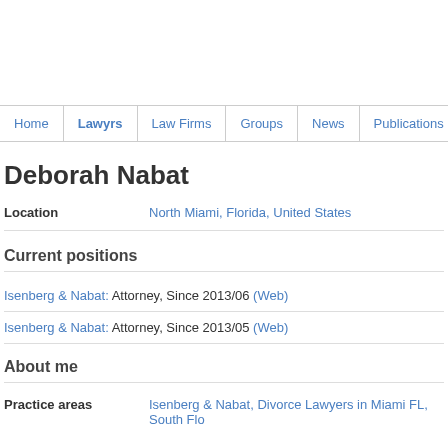Home | Lawyrs | Law Firms | Groups | News | Publications
Deborah Nabat
Location: North Miami, Florida, United States
Current positions
Isenberg & Nabat: Attorney, Since 2013/06 (Web)
Isenberg & Nabat: Attorney, Since 2013/05 (Web)
About me
Practice areas: Isenberg & Nabat, Divorce Lawyers in Miami FL, South Flo...